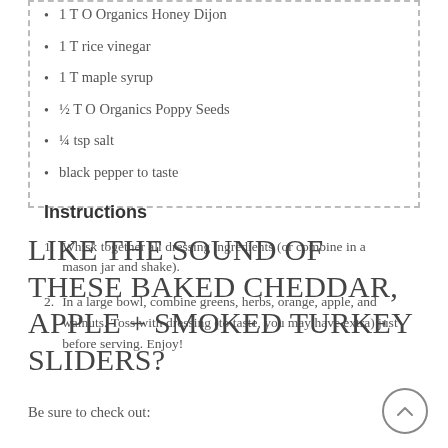1 T O Organics Honey Dijon
1 T rice vinegar
1 T maple syrup
½ T O Organics Poppy Seeds
¼ tsp salt
black pepper to taste
Instructions
Whisk together all dressing ingredients (or combine in a mason jar and shake).
In a large bowl, combine greens, herbs, orange, apple, and walnuts. Toss with dressing (to taste, you may have extra) just before serving. Enjoy!
LIKE THE SOUND OF THESE BAKED CHEDDAR, APPLE + SMOKED TURKEY SLIDERS?
Be sure to check out: